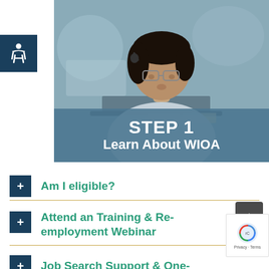[Figure (photo): Man with headset looking at laptop, with text overlay 'STEP 1 Learn About WIOA' on a teal semi-transparent banner]
+ Am I eligible?
+ Attend an Training & Re-employment Webinar
+ Job Search Support & One-